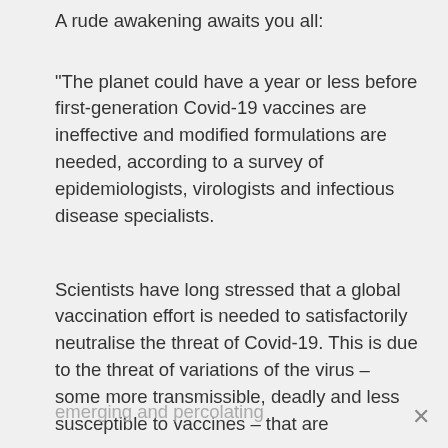A rude awakening awaits you all:
“The planet could have a year or less before first-generation Covid-19 vaccines are ineffective and modified formulations are needed, according to a survey of epidemiologists, virologists and infectious disease specialists.
Scientists have long stressed that a global vaccination effort is needed to satisfactorily neutralise the threat of Covid-19. This is due to the threat of variations of the virus – some more transmissible, deadly and less susceptible to vaccines – that are
emerging and percolating